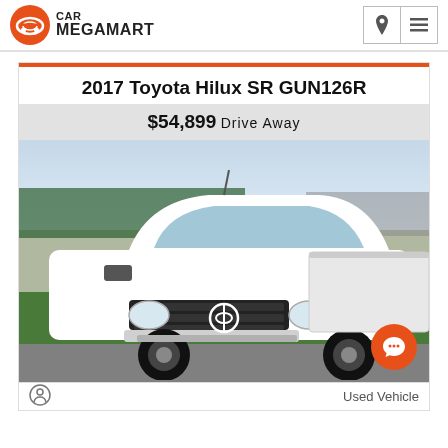CAR MEGAMART
2017 Toyota Hilux SR GUN126R
$54,899 Drive Away
[Figure (photo): White 2017 Toyota Hilux SR GUN126R pickup truck photographed from the front-left angle in a park setting with green grass and trees in the background.]
Used Vehicle